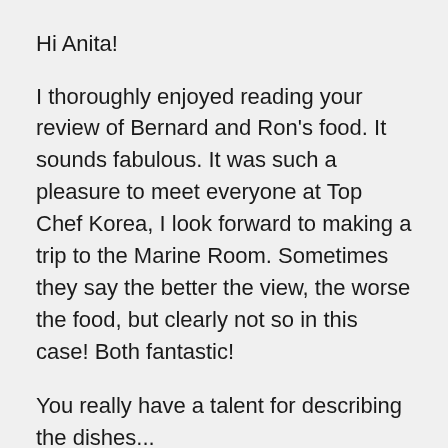Hi Anita!
I thoroughly enjoyed reading your review of Bernard and Ron's food. It sounds fabulous. It was such a pleasure to meet everyone at Top Chef Korea, I look forward to making a trip to the Marine Room. Sometimes they say the better the view, the worse the food, but clearly not so in this case! Both fantastic!
You really have a talent for describing the dishes...
LL